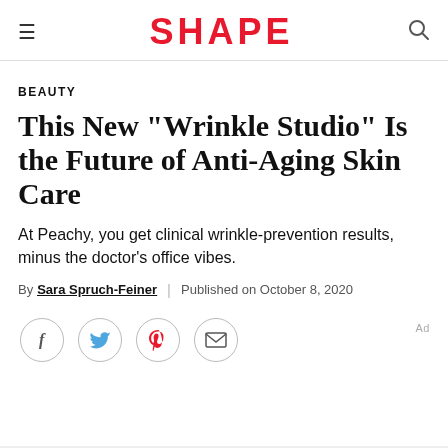SHAPE
BEAUTY
This New "Wrinkle Studio" Is the Future of Anti-Aging Skin Care
At Peachy, you get clinical wrinkle-prevention results, minus the doctor's office vibes.
By Sara Spruch-Feiner | Published on October 8, 2020
[Figure (other): Social share icons: Facebook, Twitter, Pinterest, Email]